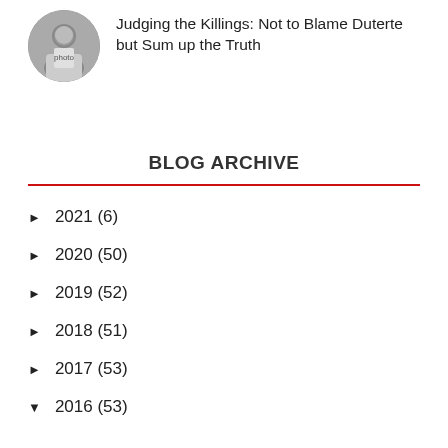[Figure (photo): Circular avatar photo of a person (appears to be Duterte) in a white shirt, gesturing with hand]
Judging the Killings: Not to Blame Duterte but Sum up the Truth
BLOG ARCHIVE
► 2021 (6)
► 2020 (50)
► 2019 (52)
► 2018 (51)
► 2017 (53)
▼ 2016 (53)